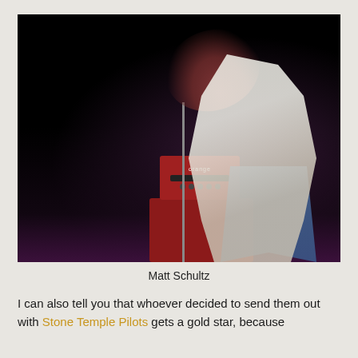[Figure (photo): Concert photo of Matt Schultz performing on stage with an Orange amplifier, headbanging with hair flying, wearing a white t-shirt and jeans, dark background]
Matt Schultz
I can also tell you that whoever decided to send them out with Stone Temple Pilots gets a gold star, because